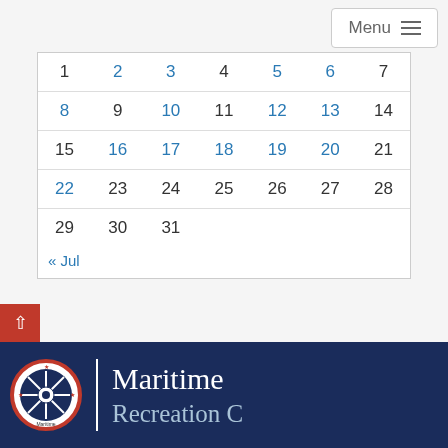Menu
|  |  |  |  |  |  |  |
| --- | --- | --- | --- | --- | --- | --- |
| 1 | 2 | 3 | 4 | 5 | 6 | 7 |
| 8 | 9 | 10 | 11 | 12 | 13 | 14 |
| 15 | 16 | 17 | 18 | 19 | 20 | 21 |
| 22 | 23 | 24 | 25 | 26 | 27 | 28 |
| 29 | 30 | 31 |  |  |  |  |
« Jul
IMPORTANT LINKS: FOIA | USA.gov | U.S. Department of Homeland Security | DHS Office of Inspector General | WhiteHouse.gov | MHS Notice of Privacy Practices
[Figure (logo): Maritime Administration circular logo with ship wheel design and stars]
Maritime